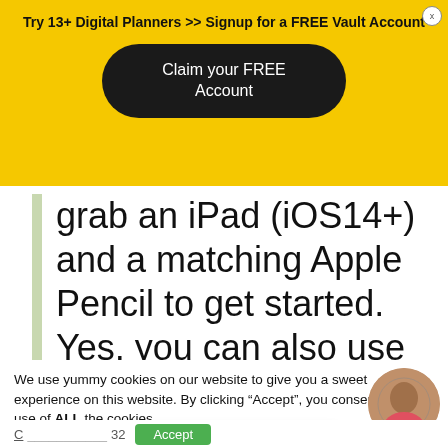Try 13+ Digital Planners >> Signup for a FREE Vault Account
Claim your FREE Account
grab an iPad (iOS14+) and a matching Apple Pencil to get started. Yes, you can also use your iPhone and Mac, but to enjoy the best planning
We use yummy cookies on our website to give you a sweet experience on this website. By clicking “Accept”, you consent to the use of ALL the cookies.
Oh, here I am. Ask me anything.